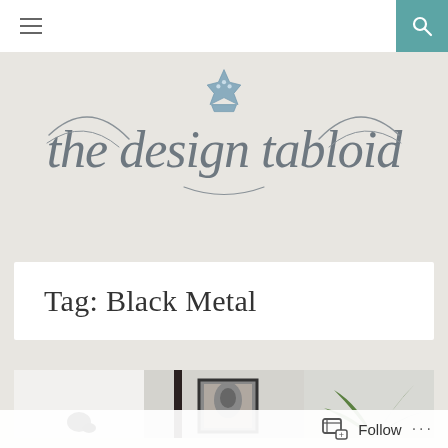Navigation bar with hamburger menu and search icon
[Figure (logo): The Design Tabloid cursive script logo with a crown icon above the text]
Tag: Black Metal
[Figure (photo): Photo strip showing interior design scene with black metal frames and framed artwork on wall with a plant]
Follow ...